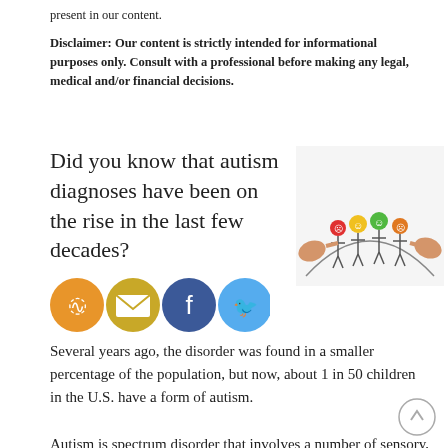present in our content.
Disclaimer: Our content is strictly intended for informational purposes only. Consult with a professional before making any legal, medical and/or financial decisions.
Did you know that autism diagnoses have been on the rise in the last few decades?
[Figure (photo): Hands placing colorful smiley-face emoji figures (red, yellow, green, orange) as heads on drawn stick figures of children holding hands in a circle on a white background.]
[Figure (other): Social sharing icons: RSS (orange), Email (gold/envelope), Facebook (blue), Twitter (light blue)]
Several years ago, the disorder was found in a smaller percentage of the population, but now, about 1 in 50 children in the U.S. have a form of autism.
Autism is spectrum disorder that involves a number of sensory, neurodevelopmental problems, in which verbal communication can sometimes be severely impaired. This